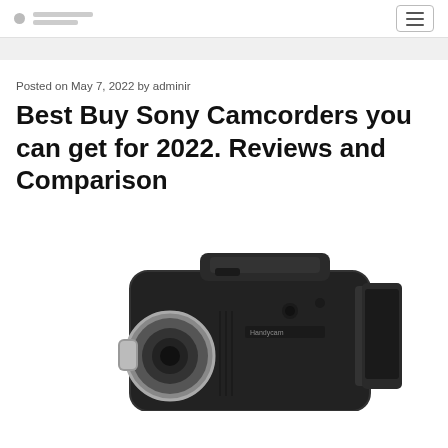[Site logo and menu icon]
Posted on May 7, 2022 by adminir
Best Buy Sony Camcorders you can get for 2022. Reviews and Comparison
[Figure (photo): A Sony camcorder (black) viewed from the side/front angle, partially cropped at the bottom of the page]